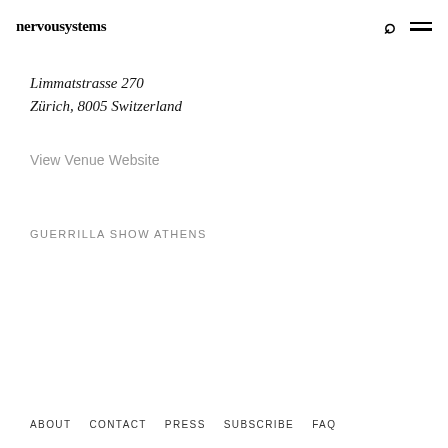nervousystems
Limmatstrasse 270
Zürich, 8005 Switzerland
View Venue Website
GUERRILLA SHOW ATHENS
ABOUT   CONTACT   PRESS   SUBSCRIBE   FAQ